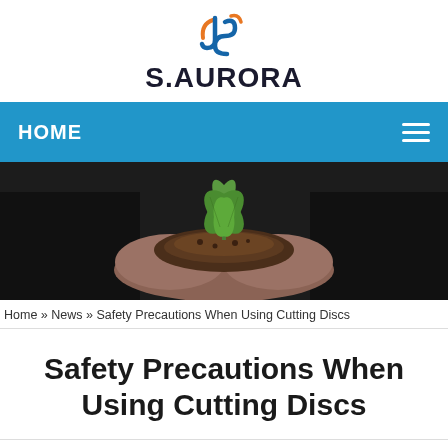[Figure (logo): S.AURORA company logo with stylized blue and orange JG monogram above the text S.AURORA in bold dark letters]
HOME
[Figure (photo): Person in dark clothing holding a small green seedling plant in soil with both hands, dark background]
Home » News » Safety Precautions When Using Cutting Discs
Safety Precautions When Using Cutting Discs